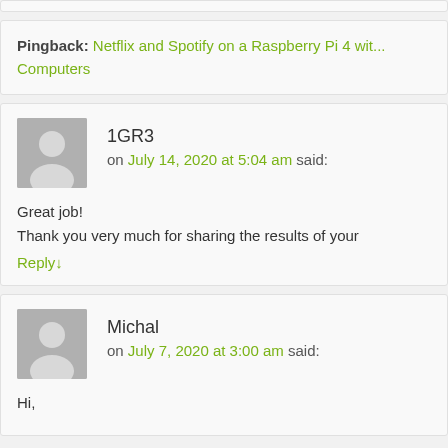Pingback: Netflix and Spotify on a Raspberry Pi 4 wit... Computers
1GR3 on July 14, 2020 at 5:04 am said:
Great job!
Thank you very much for sharing the results of your
Reply↓
Michal on July 7, 2020 at 3:00 am said:
Hi,